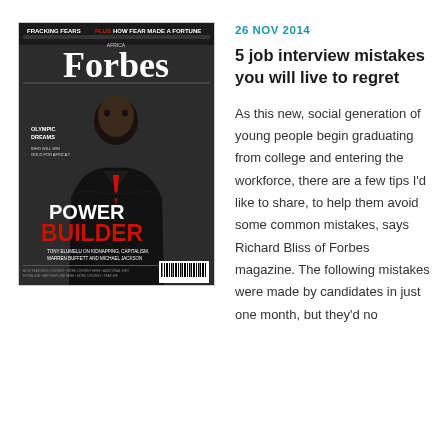[Figure (photo): Forbes Africa magazine cover featuring a man in a dark suit with a red tie, arms crossed. Cover text includes 'FRACKING FEARS', 'HOW FEAR MADE A FORTUNE', 'Forbes AFRICA', 'OLYMPIC DREAMS', 'WHO WILL WIN GOLD FOR AFRICA?', 'POWER BUILDER', 'BUILDER' in red, 'TONY ELUMELU ON KIDNAPPING, CAPITALISM, WARREN BUFFETT AND MICHAEL JACKSON', barcode at bottom right.]
26 NOV 2014
5 job interview mistakes you will live to regret
As this new, social generation of young people begin graduating from college and entering the workforce, there are a few tips I'd like to share, to help them avoid some common mistakes, says Richard Bliss of Forbes magazine. The following mistakes were made by candidates in just one month, but they'd no